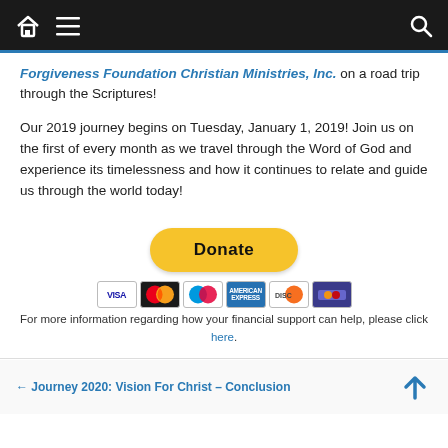Navigation bar with home icon, hamburger menu, and search icon
Forgiveness Foundation Christian Ministries, Inc. on a road trip through the Scriptures!
Our 2019 journey begins on Tuesday, January 1, 2019!  Join us on the first of every month as we travel through the Word of God and experience its timelessness and how it continues to relate and guide us through the world today!
[Figure (other): PayPal Donate button with credit card icons (Visa, Mastercard, Maestro, American Express, Discover, others)]
For more information regarding how your financial support can help, please click here.
← Journey 2020: Vision For Christ – Conclusion